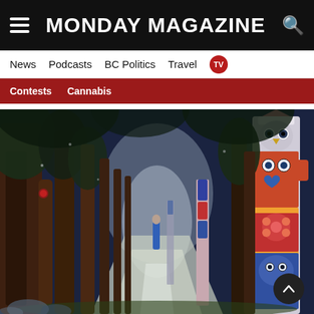MONDAY MAGAZINE
News  Podcasts  BC Politics  Travel  TV
Contests  Cannabis
[Figure (illustration): A painting depicting a forest path lined with tall dark trees, with colorful totem poles visible on the right side. The path recedes into the distance with a luminous background. The style is expressionistic watercolor/oil painting.]